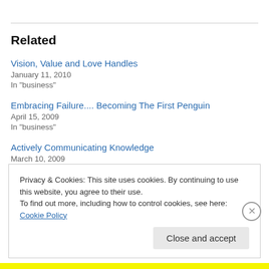Related
Vision, Value and Love Handles
January 11, 2010
In "business"
Embracing Failure.... Becoming The First Penguin
April 15, 2009
In "business"
Actively Communicating Knowledge
March 10, 2009
Privacy & Cookies: This site uses cookies. By continuing to use this website, you agree to their use.
To find out more, including how to control cookies, see here: Cookie Policy